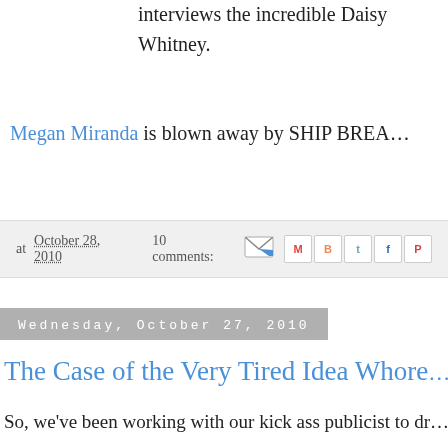interviews the incredible Daisy Whitney.
Megan Miranda is blown away by SHIP BREA…
at October 28, 2010  10 comments:
Wednesday, October 27, 2010
The Case of the Very Tired Idea Whore
So, we've been working with our kick ass publicist to dr… amazing contests for the Teen Fire Ning leading up to T… LIAR SOCIETY release in March. November was goin… epic. Until we found out that tag lines are a little too im… to be subject to a popular vote. Who knew?
Bottom line, we need an epic contest for the Teen Fire s… ASAP. We're trying to think of ideas that will make part…